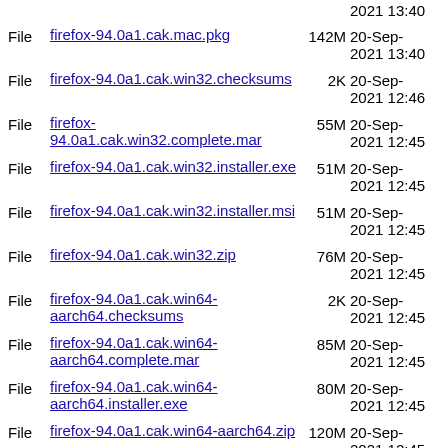File firefox-94.0a1.cak.mac.pkg 142M 20-Sep-2021 13:40
File firefox-94.0a1.cak.win32.checksums 2K 20-Sep-2021 12:46
File firefox-94.0a1.cak.win32.complete.mar 55M 20-Sep-2021 12:45
File firefox-94.0a1.cak.win32.installer.exe 51M 20-Sep-2021 12:45
File firefox-94.0a1.cak.win32.installer.msi 51M 20-Sep-2021 12:45
File firefox-94.0a1.cak.win32.zip 76M 20-Sep-2021 12:45
File firefox-94.0a1.cak.win64-aarch64.checksums 2K 20-Sep-2021 12:45
File firefox-94.0a1.cak.win64-aarch64.complete.mar 85M 20-Sep-2021 12:45
File firefox-94.0a1.cak.win64-aarch64.installer.exe 80M 20-Sep-2021 12:45
File firefox-94.0a1.cak.win64-aarch64.zip 120M 20-Sep-2021 12:45
File firefox-94.0a1.cak.win64.checksums 2K 20-Sep-2021 12:52